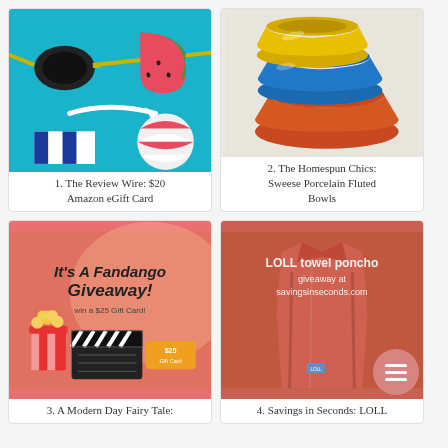[Figure (illustration): Summer Amazon gift card themed graphic with sunglasses, watermelon slice, beach ball, striped towel on teal background with white Amazon arrow logo]
1. The Review Wire: $20 Amazon eGift Card
[Figure (photo): Stack of colorful Sweese porcelain fluted bowls in orange, blue, and yellow colors on white background]
2. The Homespun Chics: Sweese Porcelain Fluted Bowls
[Figure (illustration): It's A Fandango Giveaway! promotional graphic with popcorn, movie clapperboard, and gift card on pink-red background]
3. A Modern Day Fairy Tale:
[Figure (photo): LOLL towel poncho giveaway at savingsinseconds.com - coral/orange colored towel poncho on display]
4. Savings in Seconds: LOLL